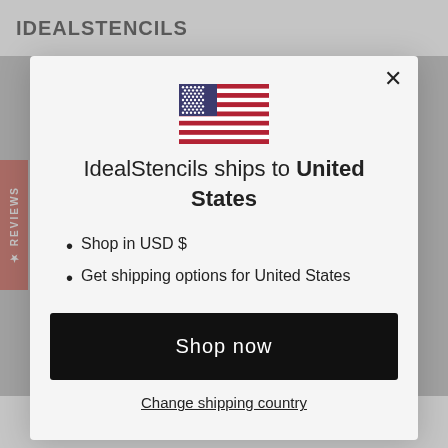IDEALSTENCILS
[Figure (illustration): US flag emoji/icon]
IdealStencils ships to United States
Shop in USD $
Get shipping options for United States
Shop now
Change shipping country
The most common questions are answered in our